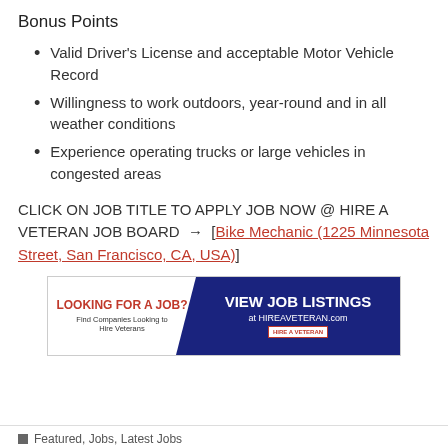Bonus Points
Valid Driver's License and acceptable Motor Vehicle Record
Willingness to work outdoors, year-round and in all weather conditions
Experience operating trucks or large vehicles in congested areas
CLICK ON JOB TITLE TO APPLY JOB NOW @ HIRE A VETERAN JOB BOARD → [Bike Mechanic (1225 Minnesota Street, San Francisco, CA, USA)]
[Figure (infographic): Advertisement banner: 'LOOKING FOR A JOB? Find Companies Looking to Hire Veterans' on the left, 'VIEW JOB LISTINGS at HIREAVETERAN.com' on the right with Hire A Veteran logo]
Featured, Jobs, Latest Jobs